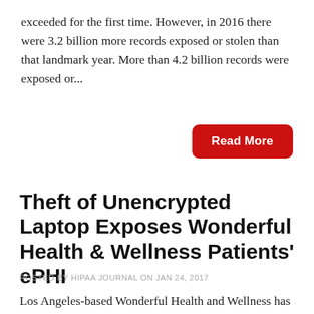exceeded for the first time. However, in 2016 there were 3.2 billion more records exposed or stolen than that landmark year. More than 4.2 billion records were exposed or...
Read More
Theft of Unencrypted Laptop Exposes Wonderful Health & Wellness Patients' ePHI
POSTED BY HIPAA JOURNAL ON JAN 24, 2017
Los Angeles-based Wonderful Health and Wellness has notified patents that their electronic protected health information (ePHI) was exposed